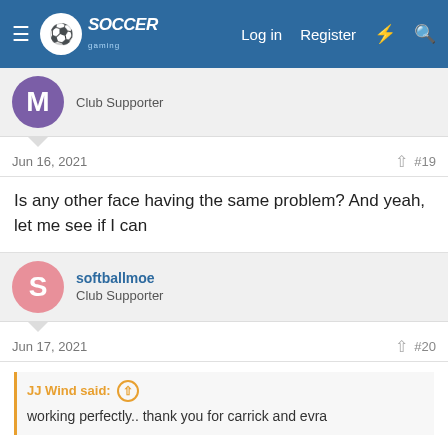Soccer Gaming — Log in | Register
Club Supporter
Jun 16, 2021  #19
Is any other face having the same problem? And yeah, let me see if I can
softballmoe
Club Supporter
Jun 17, 2021  #20
JJ Wind said: ↑
working perfectly.. thank you for carrick and evra
Thank you very much mate
I can also confirm here that carrick and evra fixes both are working perfectly